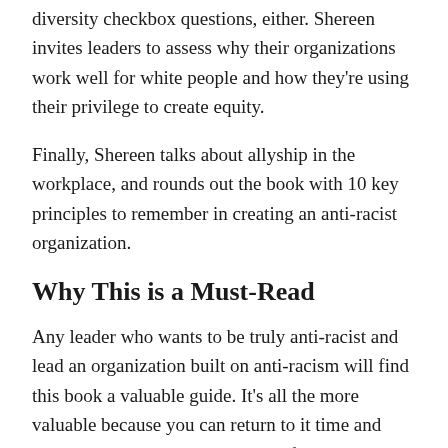diversity checkbox questions, either. Shereen invites leaders to assess why their organizations work well for white people and how they're using their privilege to create equity.
Finally, Shereen talks about allyship in the workplace, and rounds out the book with 10 key principles to remember in creating an anti-racist organization.
Why This is a Must-Read
Any leader who wants to be truly anti-racist and lead an organization built on anti-racism will find this book a valuable guide. It's all the more valuable because you can return to it time and again to assess your progress and focus on new priorities as you get closer to your goal. Frankly, it's a must-read.